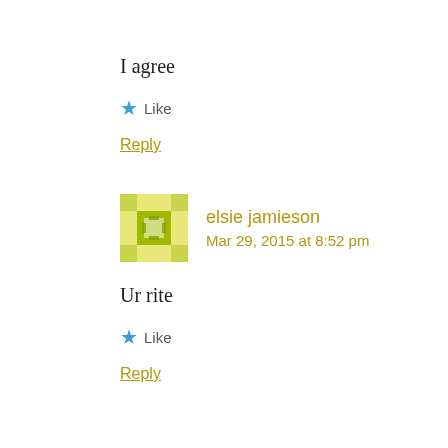I agree
★ Like
Reply
elsie jamieson
Mar 29, 2015 at 8:52 pm
Ur rite
★ Like
Reply